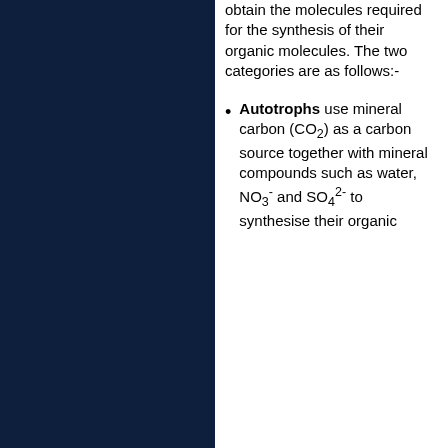obtain the molecules required for the synthesis of their organic molecules. The two categories are as follows:-
Autotrophs use mineral carbon (CO2) as a carbon source together with mineral compounds such as water, NO3- and SO4 2- to synthesise their organic